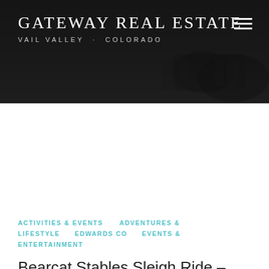Gateway Real Estate
Vail Valley · Colorado
ACTIVITIES & EVENTS   ADVENTURES & LIFESTYLE   EDWARDS CO   EVENTS & ENTERTAINMENT
Bearcat Stables Sleigh Ride – Edwards, CO
It's lovely weather for a sleigh ride together with you! Nestled in the Squaw Creek Valley in Cordillera, 15 minutes…